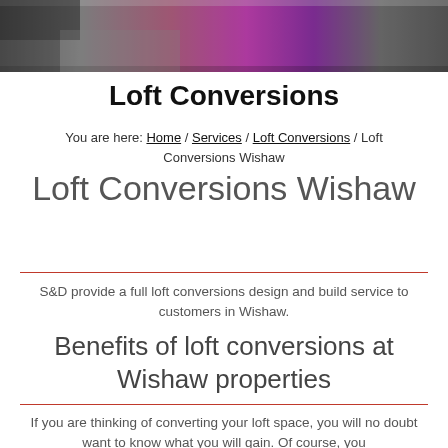[Figure (photo): Bedroom photo showing pillows and fabric in grey and pink/purple tones, cropped at top of page]
Loft Conversions
You are here: Home / Services / Loft Conversions / Loft Conversions Wishaw
Loft Conversions Wishaw
S&D provide a full loft conversions design and build service to customers in Wishaw.
Benefits of loft conversions at Wishaw properties
If you are thinking of converting your loft space, you will no doubt want to know what you will gain. Of course, you